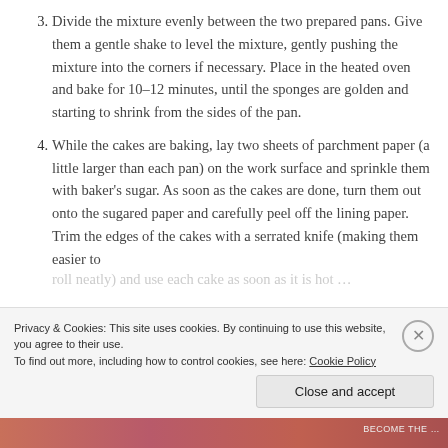3. Divide the mixture evenly between the two prepared pans. Give them a gentle shake to level the mixture, gently pushing the mixture into the corners if necessary. Place in the heated oven and bake for 10–12 minutes, until the sponges are golden and starting to shrink from the sides of the pan.
4. While the cakes are baking, lay two sheets of parchment paper (a little larger than each pan) on the work surface and sprinkle them with baker's sugar. As soon as the cakes are done, turn them out onto the sugared paper and carefully peel off the lining paper. Trim the edges of the cakes with a serrated knife (making them easier to roll neatly) and use each cake as soon as it is hot …
Privacy & Cookies: This site uses cookies. By continuing to use this website, you agree to their use.
To find out more, including how to control cookies, see here: Cookie Policy